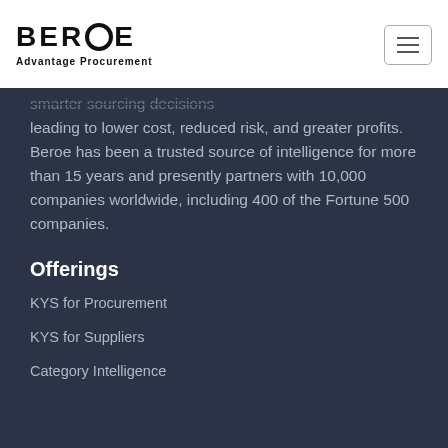[Figure (logo): Beroe logo with circle O and tagline 'Advantage Procurement']
smarter sourcing decisions leading to lower cost, reduced risk, and greater profits. Beroe has been a trusted source of intelligence for more than 15 years and presently partners with 10,000 companies worldwide, including 400 of the Fortune 500 companies.
Offerings
KYS for Procurement
KYS for Suppliers
Category Intelligence